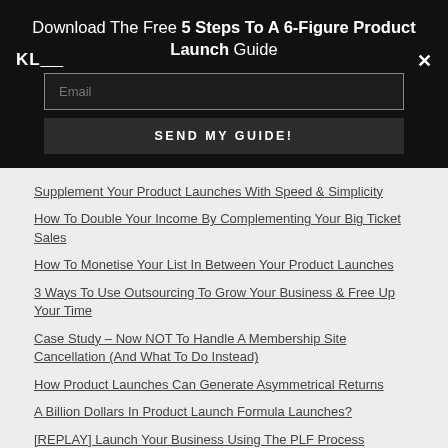Download The Free 5 Steps To A 6-Figure Product Launch Guide
[Figure (logo): KL logo text in white on dark background]
Email input field placeholder
SEND MY GUIDE! button
Supplement Your Product Launches With Speed & Simplicity
How To Double Your Income By Complementing Your Big Ticket Sales
How To Monetise Your List In Between Your Product Launches
3 Ways To Use Outsourcing To Grow Your Business & Free Up Your Time
Case Study – Now NOT To Handle A Membership Site Cancellation (And What To Do Instead)
How Product Launches Can Generate Asymmetrical Returns
A Billion Dollars In Product Launch Formula Launches?
[REPLAY] Launch Your Business Using The PLF Process
Your Product Launch Emails & Getting People To Click
How To Leverage Your Product Launch List To Double Your Profits